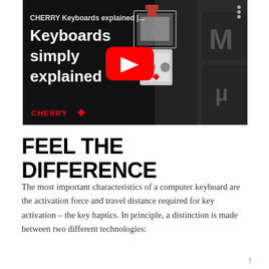[Figure (screenshot): YouTube video thumbnail showing CHERRY Keyboards explained video with text 'Keyboards simply explained', a YouTube play button, a mechanical keyboard switch component in the center, a dark keycap with letter M on the right, and the CHERRY logo with red diamond in the bottom left. Dark background.]
FEEL THE DIFFERENCE
The most important characteristics of a computer keyboard are the activation force and travel distance required for key activation – the key haptics. In principle, a distinction is made between two different technologies: